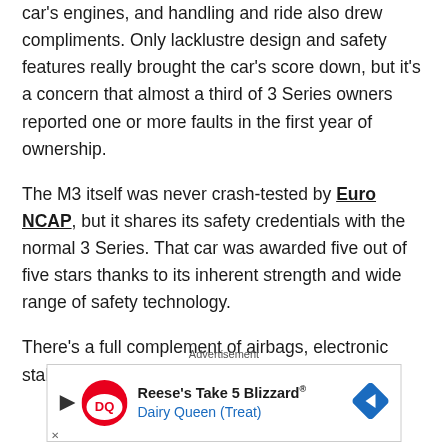car's engines, and handling and ride also drew compliments. Only lacklustre design and safety features really brought the car's score down, but it's a concern that almost a third of 3 Series owners reported one or more faults in the first year of ownership.
The M3 itself was never crash-tested by Euro NCAP, but it shares its safety credentials with the normal 3 Series. That car was awarded five out of five stars thanks to its inherent strength and wide range of safety technology.
There's a full complement of airbags, electronic stability
Advertisement
[Figure (other): Dairy Queen advertisement banner: Reese's Take 5 Blizzard® Dairy Queen (Treat) with DQ logo and navigation arrow icon]